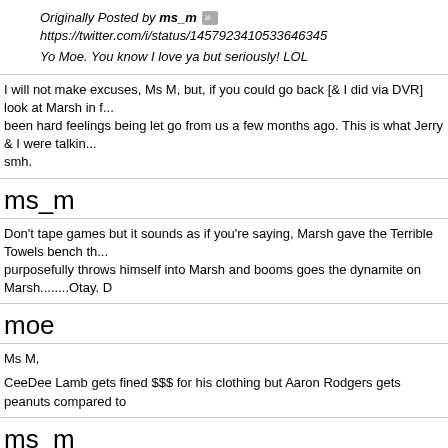Originally Posted by ms_m »
https://twitter.com/i/status/14579234105336463​45
Yo Moe. You know I love ya but seriously! LOL
I will not make excuses, Ms M, but, if you could go back [& I did via DVR] look at Marsh in f... been hard feelings being let go from us a few months ago. This is what Jerry & I were talkin... smh.
ms_m
Don't tape games but it sounds as if you're saying, Marsh gave the Terrible Towels bench th... purposefully throws himself into Marsh and booms goes the dynamite on Marsh........Otay. D
moe
Ms M,
CeeDee Lamb gets fined $$$ for his clothing but Aaron Rodgers gets peanuts compared to
ms_m
It's beyond the pale Moe!!!!!!!